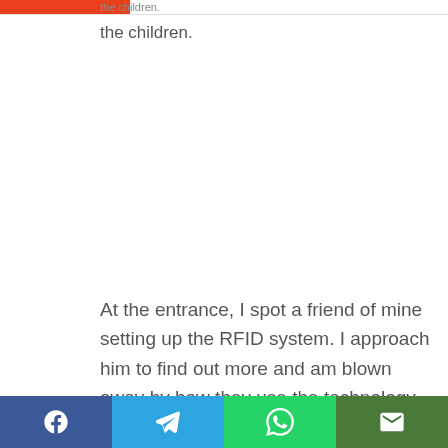the children.
At the entrance, I spot a friend of mine setting up the RFID system. I approach him to find out more and am blown away by how they use the technology.
[Figure (infographic): Social share bar with Facebook, Telegram, WhatsApp, and email icons]